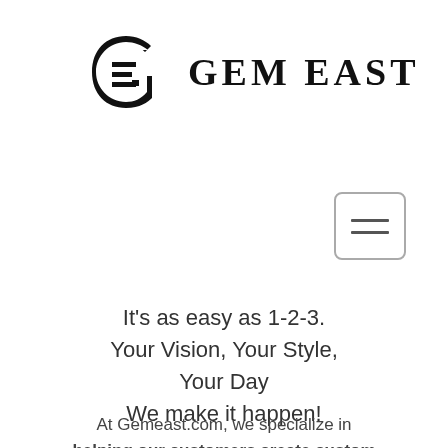[Figure (logo): Gem East logo: stylized GE monogram lettermark in black, followed by bold spaced text 'GEM EAST']
[Figure (other): Hamburger menu button: rounded rectangle with three horizontal bars]
It's as easy as 1-2-3.
Your Vision, Your Style,
Your Day
We make it happen!
At Gemeast.com, we specialize in helping our customers create custom